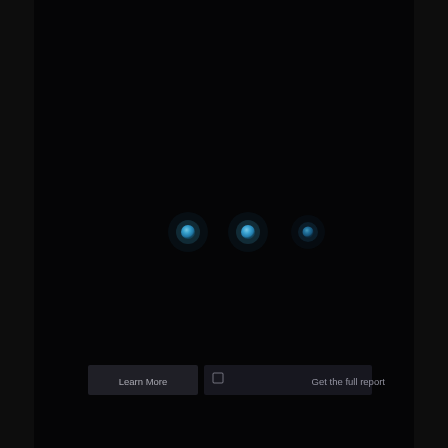[Figure (photo): Very dark image showing three faint blue glowing dots/LEDs arranged horizontally in the center of a nearly black frame. Near the bottom, two faintly visible UI buttons labeled 'Learn More' and an icon-accompanied action button are barely discernible against the dark background.]